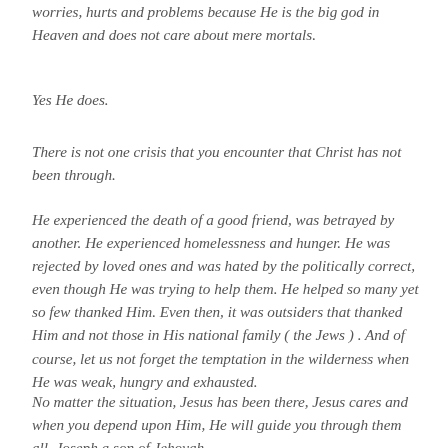worries, hurts and problems because He is the big god in Heaven and does not care about mere mortals.
Yes He does.
There is not one crisis that you encounter that Christ has not been through.
He experienced the death of a good friend, was betrayed by another. He experienced homelessness and hunger. He was rejected by loved ones and was hated by the politically correct, even though He was trying to help them. He helped so many yet so few thanked Him. Even then, it was outsiders that thanked Him and not those in His national family ( the Jews ) . And of course, let us not forget the temptation in the wilderness when He was weak, hungry and exhausted.
No matter the situation, Jesus has been there, Jesus cares and when you depend upon Him, He will guide you through them all. Joseph a son of Jehovah.